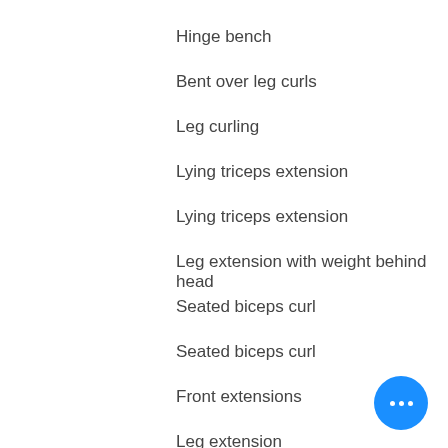Hinge bench
Bent over leg curls
Leg curling
Lying triceps extension
Lying triceps extension
Leg extension with weight behind head
Seated biceps curl
Seated biceps curl
Front extensions
Leg extension
Incline presses with weight behind head